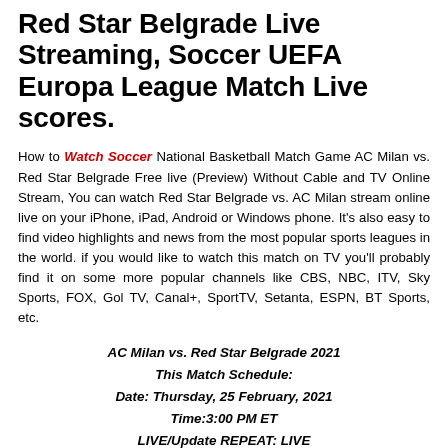Red Star Belgrade Live Streaming, Soccer UEFA Europa League Match Live scores.
How to Watch Soccer National Basketball Match Game AC Milan vs. Red Star Belgrade Free live (Preview) Without Cable and TV Online Stream, You can watch Red Star Belgrade vs. AC Milan stream online live on your iPhone, iPad, Android or Windows phone. It’s also easy to find video highlights and news from the most popular sports leagues in the world. if you would like to watch this match on TV you’ll probably find it on some more popular channels like CBS, NBC, ITV, Sky Sports, FOX, Gol TV, Canal+, SportTV, Setanta, ESPN, BT Sports, etc.
AC Milan vs. Red Star Belgrade 2021
This Match Schedule:
Date: Thursday, 25 February, 2021
Time:3:00 PM ET
LIVE/Update REPEAT: LIVE